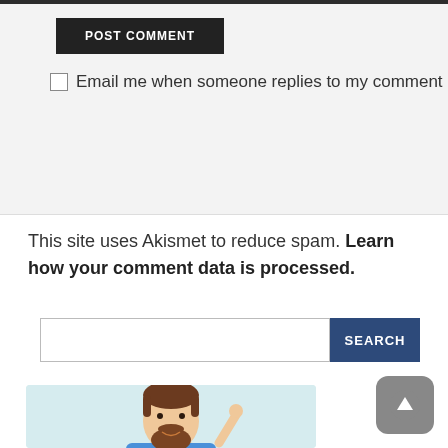POST COMMENT
Email me when someone replies to my comment
This site uses Akismet to reduce spam. Learn how your comment data is processed.
[Figure (screenshot): Search bar with text input field and dark blue SEARCH button]
[Figure (illustration): Cartoon illustration of a bearded man smiling and pointing upward, on a light blue background]
[Figure (other): Gray rounded square scroll-to-top button with upward arrow icon]